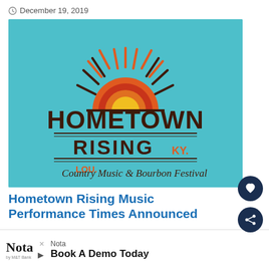December 19, 2019
[Figure (logo): Hometown Rising Country Music & Bourbon Festival logo on teal background. Shows a rising sun with orange and red rays above text reading HOMETOWN RISING KY. LOU. Country Music & Bourbon Festival]
Hometown Rising Music Performance Times Announced
August 29, 2019
[Figure (logo): Partial view of Hometown Rising logo showing the rising sun graphic in orange, red and dark brown colors on white background]
WHAT'S NEXT → Thomas Rhett Unveils Mus...
Nota Book A Demo Today Open